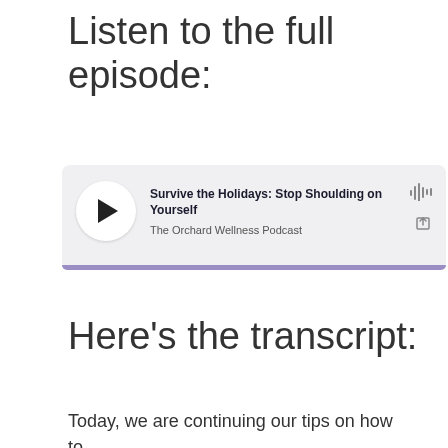Listen to the full episode:
[Figure (other): Podcast player widget showing episode 'Survive the Holidays: Stop Shoulding on Yourself' from The Orchard Wellness Podcast, with a circular play button, waveform icon, share icon, and a purple progress bar at the bottom.]
Here's the transcript:
Today, we are continuing our tips on how to